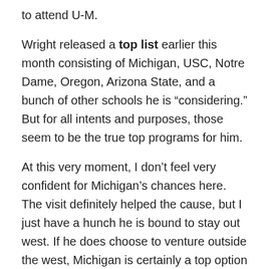to attend U-M.
Wright released a top list earlier this month consisting of Michigan, USC, Notre Dame, Oregon, Arizona State, and a bunch of other schools he is “considering.” But for all intents and purposes, those seem to be the true top programs for him.
At this very moment, I don’t feel very confident for Michigan’s chances here. The visit definitely helped the cause, but I just have a hunch he is bound to stay out west. If he does choose to venture outside the west, Michigan is certainly a top option for him, but for now I would temper any expectations you may have.
George Rooks, four-star DT
Rooks is another big-time target on defense for the